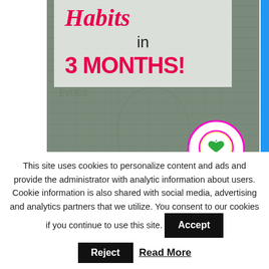[Figure (photo): Hero image showing US dollar bills in background with white semi-transparent overlay containing text 'Habits in 3 MONTHS!' in pink/red fonts, and a circular logo for 'a better life lived' with green heart and leaves]
This site uses cookies to personalize content and ads and provide the administrator with analytic information about users. Cookie information is also shared with social media, advertising and analytics partners that we utilize. You consent to our cookies if you continue to use this site.
Accept
Reject
Read More